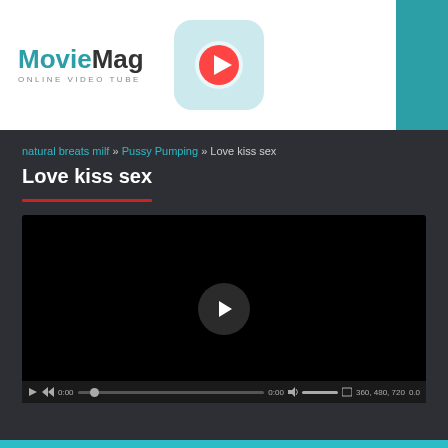[Figure (logo): MovieMag Online Video Tube logo with teal play button icon]
natural breats milf » Pussy Pumping » Love kiss sex
Love kiss sex
[Figure (screenshot): Video player showing black screen with play button, controls bar showing 0:00 timestamp, progress bar, volume, and quality options 360, 480, 720]